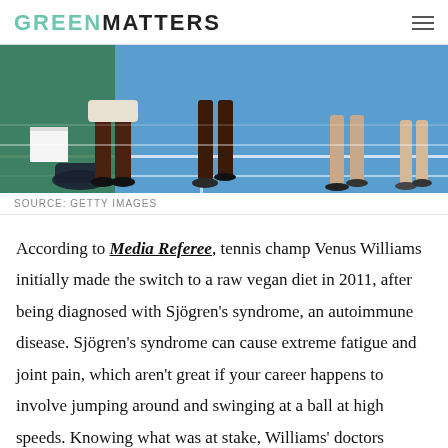GREENMATTERS
[Figure (photo): Tennis court scene showing players' legs on a blue court surface]
SOURCE: GETTY IMAGES
According to Media Referee, tennis champ Venus Williams initially made the switch to a raw vegan diet in 2011, after being diagnosed with Sjögren's syndrome, an autoimmune disease. Sjögren's syndrome can cause extreme fatigue and joint pain, which aren't great if your career happens to involve jumping around and swinging at a ball at high speeds. Knowing what was at stake, Williams' doctors advised her to try veganism, and it turned